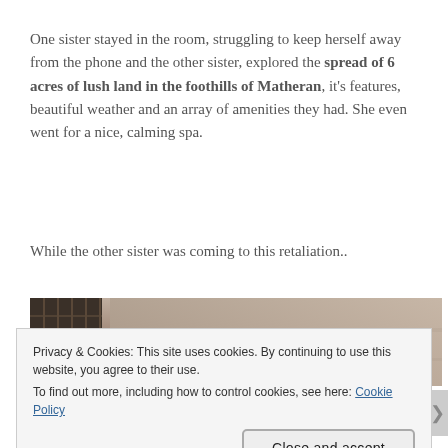One sister stayed in the room, struggling to keep herself away from the phone and the other sister, explored the spread of 6 acres of lush land in the foothills of Matheran, it's features, beautiful weather and an array of amenities they had. She even went for a nice, calming spa.
While the other sister was coming to this retaliation..
[Figure (photo): Partial photo of what appears to be a hotel or resort area showing wooden/metal railings and a beige/brown wall with warm tones.]
Privacy & Cookies: This site uses cookies. By continuing to use this website, you agree to their use.
To find out more, including how to control cookies, see here: Cookie Policy
Close and accept